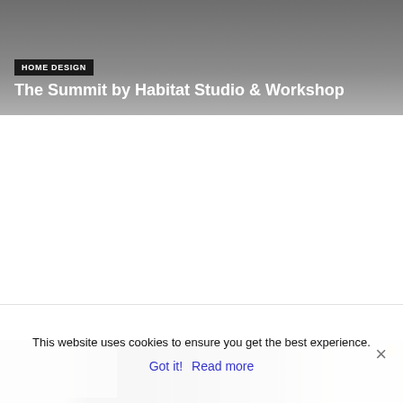[Figure (photo): Top card with dark grey gradient background showing 'HOME DESIGN' tag and title 'The Summit by Habitat Studio & Workshop']
The Summit by Habitat Studio & Workshop
[Figure (photo): Middle card with grey gradient background showing 'HOME DESIGN' tag and title 'Carapicuiba House by Angelo Bucci and Alvaro Puntoni']
Carapicuiba House by Angelo Bucci and Alvaro Puntoni
[Figure (photo): Interior photo strip showing a modern room with dark brick walls, white ceiling, and bright light fixtures]
This website uses cookies to ensure you get the best experience.
Got it!  Read more